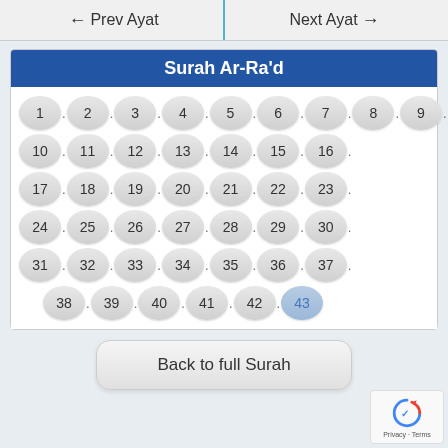← Prev Ayat   Next Ayat →
Surah Ar-Ra'd
[Figure (other): Grid of numbered ayat buttons (1-43) for Surah Ar-Ra'd, number 43 highlighted in blue as current ayat]
Back to full Surah